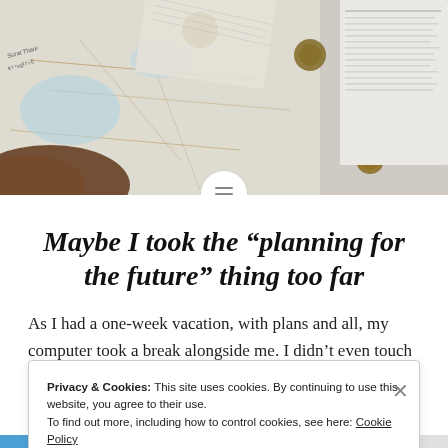[Figure (photo): Overhead view of travel maps with wax seals and an open book/document on a light surface, with a brown leather item at bottom left.]
Maybe I took the “planning for the future” thing too far
As I had a one-week vacation, with plans and all, my computer took a break alongside me. I didn’t even touch
Privacy & Cookies: This site uses cookies. By continuing to use this website, you agree to their use.
To find out more, including how to control cookies, see here: Cookie Policy
Close and accept